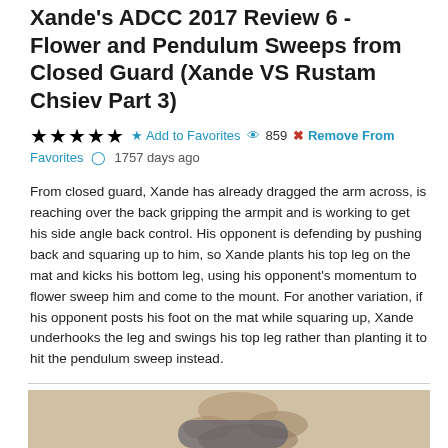Xande's ADCC 2017 Review 6 - Flower and Pendulum Sweeps from Closed Guard (Xande VS Rustam Chsiev Part 3)
★★★★★  ★ Add to Favorites  👁 859  ✖ Remove From Favorites  🕐 1757 days ago
From closed guard, Xande has already dragged the arm across, is reaching over the back gripping the armpit and is working to get his side angle back control. His opponent is defending by pushing back and squaring up to him, so Xande plants his top leg on the mat and kicks his bottom leg, using his opponent's momentum to flower sweep him and come to the mount. For another variation, if his opponent posts his foot on the mat while squaring up, Xande underhooks the leg and swings his top leg rather than planting it to hit the pendulum sweep instead.
[Figure (photo): Photo of a jiu-jitsu technique demonstration showing legs/feet of practitioners on a light-colored mat]